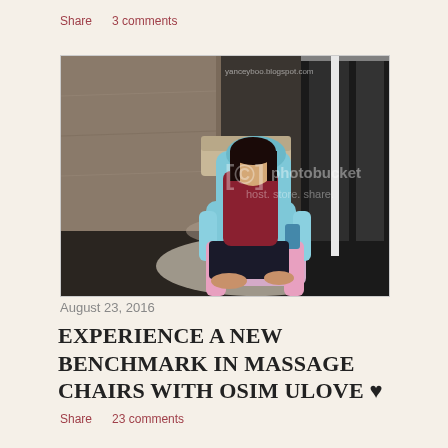Share    3 comments
[Figure (photo): Woman sitting in a blue and pink OSIM uLove massage chair in a showroom setting. Photobucket watermark overlay visible.]
August 23, 2016
EXPERIENCE A NEW BENCHMARK IN MASSAGE CHAIRS WITH OSIM ULOVE ♥
Share    23 comments